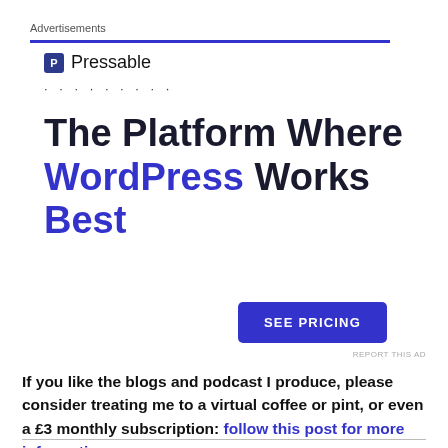Advertisements
[Figure (logo): Pressable logo with blue P icon and 'Pressable' text, followed by dotted line separator]
The Platform Where WordPress Works Best
[Figure (other): SEE PRICING button in blue]
REPORT THIS AD
If you like the blogs and podcast I produce, please consider treating me to a virtual coffee or pint, or even a £3 monthly subscription: follow this post for more information.